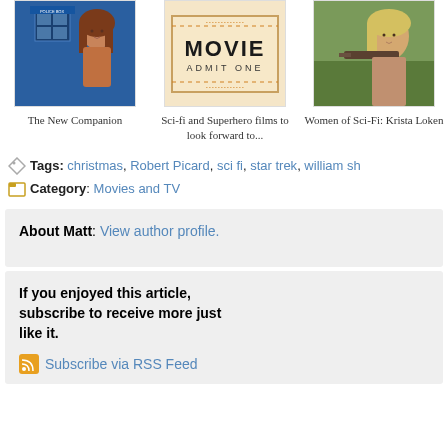[Figure (photo): Three related article thumbnails: 1) Woman with red hair in front of TARDIS (The New Companion), 2) Movie ticket graphic saying MOVIE ADMIT ONE (Sci-fi and Superhero films to look forward to...), 3) Blonde woman with weapon (Women of Sci-Fi: Kristen Loken)]
The New Companion
Sci-fi and Superhero films to look forward to...
Women of Sci-Fi: Krista Loken
Tags: christmas, Robert Picard, sci fi, star trek, william sh...
Category: Movies and TV
About Matt: View author profile.
If you enjoyed this article, subscribe to receive more just like it.
Subscribe via RSS Feed